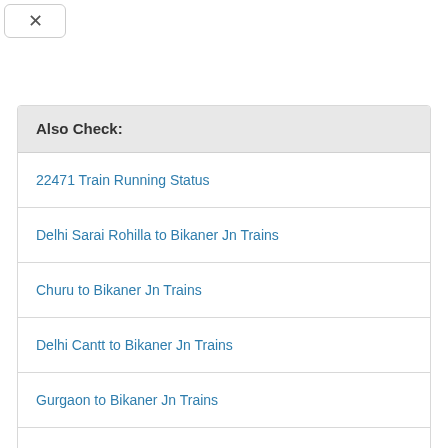Also Check:
22471 Train Running Status
Delhi Sarai Rohilla to Bikaner Jn Trains
Churu to Bikaner Jn Trains
Delhi Cantt to Bikaner Jn Trains
Gurgaon to Bikaner Jn Trains
Loharu to Bikaner Jn Trains
Mahendragarh to Bikaner Jn Trains